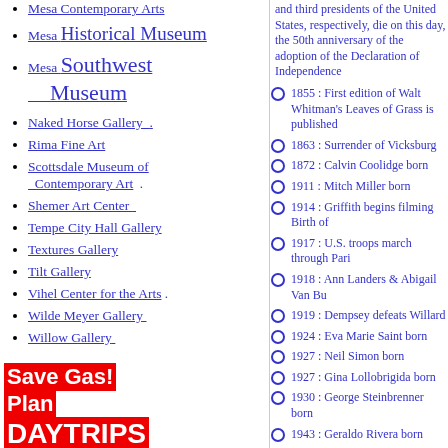Mesa Contemporary Arts
Mesa Historical Museum
Mesa Southwest Museum
Naked Horse Gallery .
Rima Fine Art
Scottsdale Museum of Contemporary Art .
Shemer Art Center _
Tempe City Hall Gallery
Textures Gallery
Tilt Gallery
Vihel Center for the Arts .
Wilde Meyer Gallery_
Willow Gallery_
[Figure (infographic): Save Gas! Plan DAYTRIPS banner in red and white]
Sedona Red Rocks
and third presidents of the United States, respectively, die on this day, the 50th anniversary of the adoption of the Declaration of Independence
1855 : First edition of Walt Whitman's Leaves of Grass is published
1863 : Surrender of Vicksburg
1872 : Calvin Coolidge born
1911 : Mitch Miller born
1914 : Griffith begins filming Birth of
1917 : U.S. troops march through Pari
1918 : Ann Landers & Abigail Van Bu
1919 : Dempsey defeats Willard
1924 : Eva Marie Saint born
1927 : Neil Simon born
1927 : Gina Lollobrigida born
1930 : George Steinbrenner born
1943 : Geraldo Rivera  born
1961 : Lauren Bacall and Jason Roba